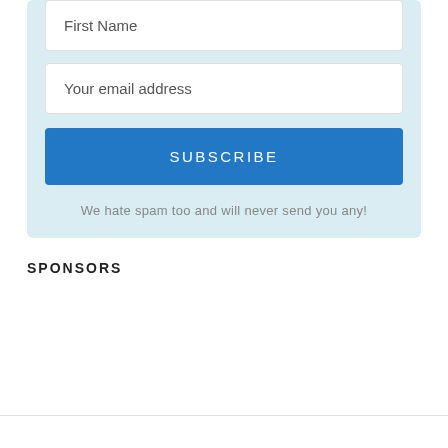First Name
Your email address
SUBSCRIBE
We hate spam too and will never send you any!
SPONSORS